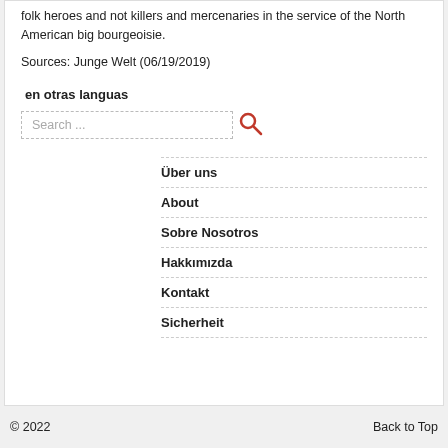folk heroes and not killers and mercenaries in the service of the North American big bourgeoisie.
Sources: Junge Welt (06/19/2019)
en otras languas
Search ...
Über uns
About
Sobre Nosotros
Hakkımızda
Kontakt
Sicherheit
© 2022    Back to Top